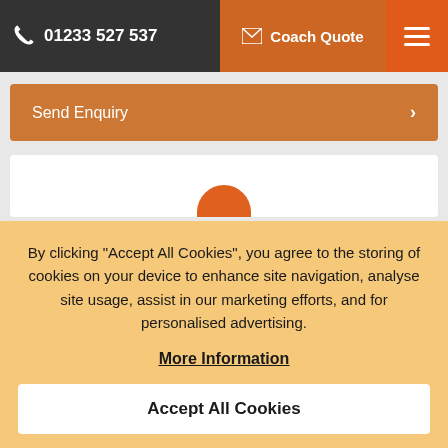📞 01233 527 537  ✉ Coach Quote  ≡
Send Enquiry  >
By clicking "Accept All Cookies", you agree to the storing of cookies on your device to enhance site navigation, analyse site usage, assist in our marketing efforts, and for personalised advertising.
More Information
Accept All Cookies